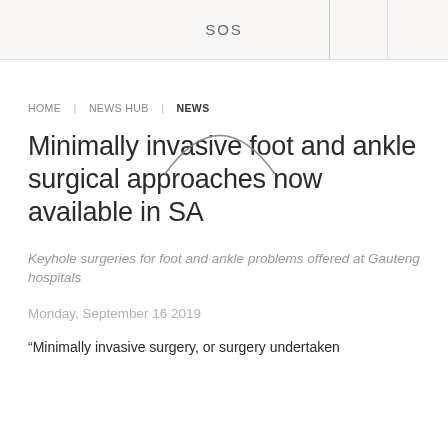SOS
HOME  |  NEWS HUB  |  NEWS
Minimally invasive foot and ankle surgical approaches now available in SA
Keyhole surgeries for foot and ankle problems offered at Gauteng hospitals
Monday, September 16 2019
“Minimally invasive surgery, or surgery undertaken